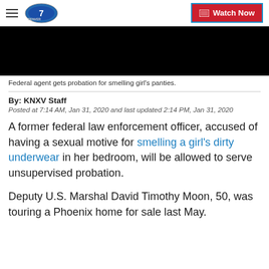Denver 7 | Watch Now
[Figure (screenshot): Black video player bar]
Federal agent gets probation for smelling girl's panties.
By: KNXV Staff
Posted at 7:14 AM, Jan 31, 2020 and last updated 2:14 PM, Jan 31, 2020
A former federal law enforcement officer, accused of having a sexual motive for smelling a girl's dirty underwear in her bedroom, will be allowed to serve unsupervised probation.
Deputy U.S. Marshal David Timothy Moon, 50, was touring a Phoenix home for sale last May.